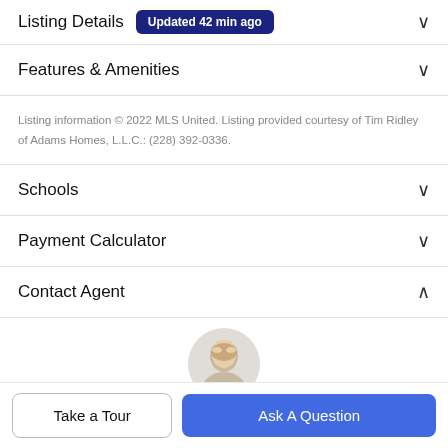Listing Details  Updated 42 min ago
Features & Amenities
Listing information © 2022 MLS United. Listing provided courtesy of Tim Ridley of Adams Homes, L.L.C.: (228) 392-0336.
Schools
Payment Calculator
Contact Agent
[Figure (photo): Circular profile photo of a blonde female agent, partially visible at bottom of page]
Take a Tour
Ask A Question